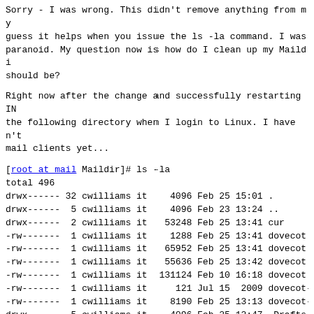Sorry - I was wrong. This didn't remove anything from my guess it helps when you issue the ls -la command. I was paranoid. My question now is how do I clean up my Maildi should be?
Right now after the change and successfully restarting IN the following directory when I login to Linux. I haven't mail clients yet...
[root at mail Maildir]# ls -la
total 496
drwx------ 32 cwilliams it    4096 Feb 25 15:01 .
drwx------  5 cwilliams it    4096 Feb 23 13:24 ..
drwx------  2 cwilliams it   53248 Feb 25 13:41 cur
-rw-------  1 cwilliams it    1288 Feb 25 13:41 dovecot.in
-rw-------  1 cwilliams it   65952 Feb 25 13:41 dovecot.in
-rw-------  1 cwilliams it   55636 Feb 25 13:42 dovecot.in
-rw-------  1 cwilliams it  131124 Feb 10 16:18 dovecot.in
-rw-------  1 cwilliams it     121 Jul 15  2009 dovecot-ke
-rw-------  1 cwilliams it    8190 Feb 25 13:13 dovecot-u:
drwx------  5 cwilliams it    4096 Feb 25 12:47 .Drafts
drwx------  2 cwilliams it    4096 Feb 25 13:27 .INBOX
drwx------  5 cwilliams it    4096 Feb 25 14:53 .INBOX.CDW
drwx------  5 cwilliams it    4096 Feb 25 08:55 .INBOX.Cla
drwx------  5 cwilliams it    4096 Feb 25 14:54 .INBOX.Del
drwx------  5 cwilliams it    4096 Feb 25 14:54 .INBOX.Del
drwx------  5 cwilliams it    4096 Feb 25 14:54 .INBOX.Del
drwx------  5 cwilliams it    4096 Feb 25 08:54 .INBOX.Del
drwx------  5 cwilliams it    4096 Feb 25 08:55 .INBOX.IBM
drwx------  5 cwilliams it    4096 Feb 25 14:54 .INBOX.Lon